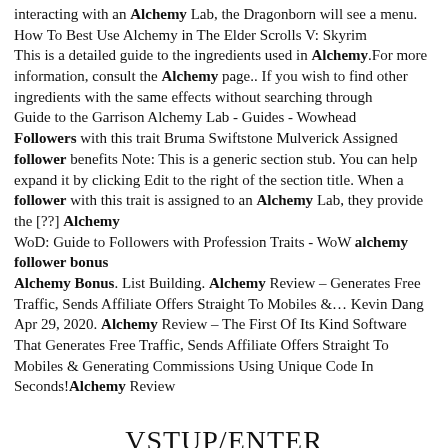interacting with an Alchemy Lab, the Dragonborn will see a menu. How To Best Use Alchemy in The Elder Scrolls V: Skyrim This is a detailed guide to the ingredients used in Alchemy.For more information, consult the Alchemy page.. If you wish to find other ingredients with the same effects without searching through Guide to the Garrison Alchemy Lab - Guides - Wowhead Followers with this trait Bruma Swiftstone Mulverick Assigned follower benefits Note: This is a generic section stub. You can help expand it by clicking Edit to the right of the section title. When a follower with this trait is assigned to an Alchemy Lab, they provide the [??] Alchemy WoD: Guide to Followers with Profession Traits - WoW alchemy follower bonus Alchemy Bonus. List Building. Alchemy Review – Generates Free Traffic, Sends Affiliate Offers Straight To Mobiles &… Kevin Dang Apr 29, 2020. Alchemy Review – The First Of Its Kind Software That Generates Free Traffic, Sends Affiliate Offers Straight To Mobiles & Generating Commissions Using Unique Code In Seconds!Alchemy Review
VSTUP/ENTER
t-mobile bonus za dobitírodina jako hodnotaburan casino no deposit bonus code 2018restaurace u matěje praha 63d hry onlinek